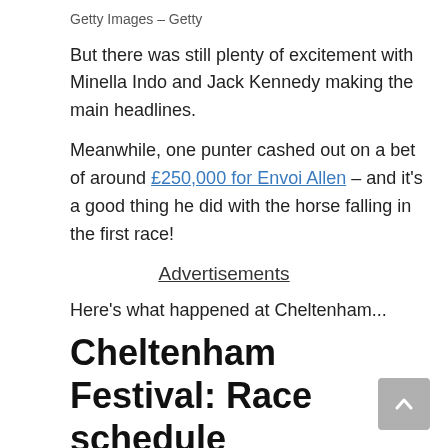Getty Images – Getty
But there was still plenty of excitement with Minella Indo and Jack Kennedy making the main headlines.
Meanwhile, one punter cashed out on a bet of around £250,000 for Envoi Allen – and it's a good thing he did with the horse falling in the first race!
Advertisements
Here's what happened at Cheltenham...
Cheltenham Festival: Race schedule